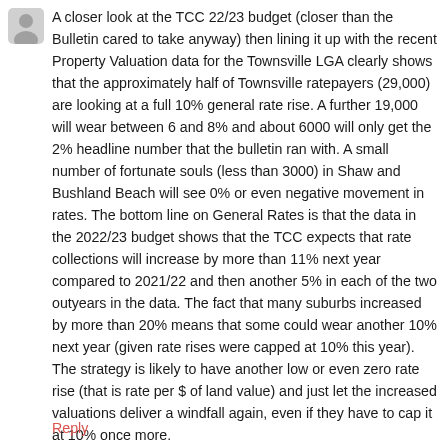[Figure (illustration): User avatar icon — grey silhouette of a person on a light grey rounded square background]
A closer look at the TCC 22/23 budget (closer than the Bulletin cared to take anyway) then lining it up with the recent Property Valuation data for the Townsville LGA clearly shows that the approximately half of Townsville ratepayers (29,000) are looking at a full 10% general rate rise. A further 19,000 will wear between 6 and 8% and about 6000 will only get the 2% headline number that the bulletin ran with. A small number of fortunate souls (less than 3000) in Shaw and Bushland Beach will see 0% or even negative movement in rates. The bottom line on General Rates is that the data in the 2022/23 budget shows that the TCC expects that rate collections will increase by more than 11% next year compared to 2021/22 and then another 5% in each of the two outyears in the data. The fact that many suburbs increased by more than 20% means that some could wear another 10% next year (given rate rises were capped at 10% this year). The strategy is likely to have another low or even zero rate rise (that is rate per $ of land value) and just let the increased valuations deliver a windfall again, even if they have to cap it at 10% once more.
Reply